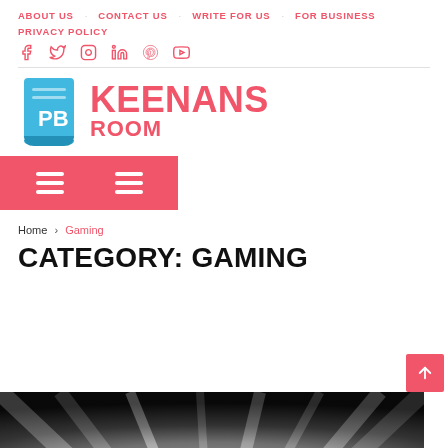ABOUT US  CONTACT US  WRITE FOR US  FOR BUSINESS  PRIVACY POLICY
[Figure (logo): PB Keenans Room logo with blue book icon and pink text]
Home › Gaming
CATEGORY: GAMING
[Figure (photo): Bottom strip showing a dark abstract image with white light rays]